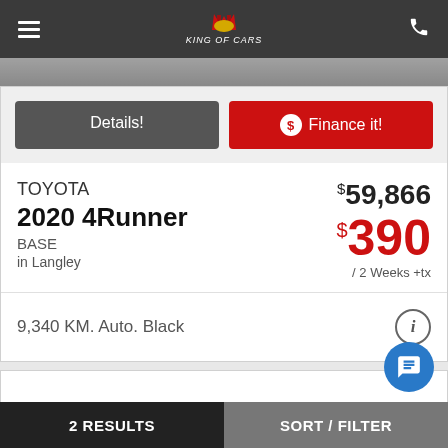[Figure (logo): King of Cars logo in navigation bar]
[Figure (photo): Partial car image strip]
Details!
$ Finance it!
TOYOTA
2020 4Runner
BASE
in Langley
$59,866
$390
/ 2 Weeks +tx
9,340 KM. Auto. Black
2 RESULTS   SORT / FILTER